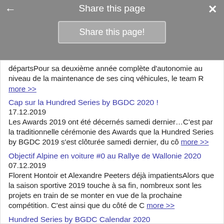Share this page
Share this page!
départsPour sa deuxième année complète d'autonomie au niveau de la maintenance de ses cinq véhicules, le team R more >>
Cap sur la Hundred Series by BGDC 2020 !
17.12.2019
Les Awards 2019 ont été décernés samedi dernier…C'est par la traditionnelle cérémonie des Awards que la Hundred Series by BGDC 2019 s'est clôturée samedi dernier, du cô more >>
Objectif Alpine en voiture #0 au Rallye de Wallonie 2020
07.12.2019
Florent Hontoir et Alexandre Peeters déjà impatientsAlors que la saison sportive 2019 touche à sa fin, nombreux sont les projets en train de se monter en vue de la prochaine compétition. C'est ainsi que du côté de C more >>
Hundred Series by BGDC Calendar 2020
02.12.2019
Hundred Series by BGDC 202021/03 : Terlaemen 200 / Circuit Zolder22-23/05 : Magny-Cours 200 / Circuit Nevers Magny-Cours (F)13-14/06 : Assen 200 / TT Circuit Assen (NL)10-11/07 : Spa 200 / Circuit Spa-Francorchamps more >>
Hundred Series by BGDC Champions 2019
02.12.2019